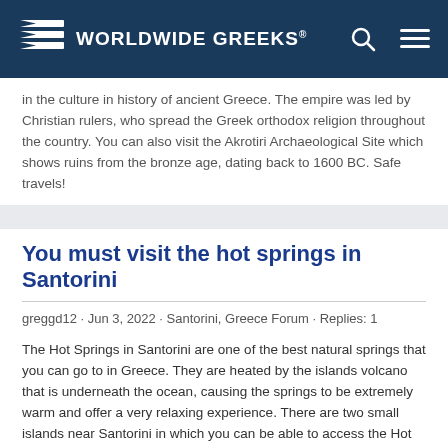Worldwide Greeks
in the culture in history of ancient Greece. The empire was led by Christian rulers, who spread the Greek orthodox religion throughout the country. You can also visit the Akrotiri Archaeological Site which shows ruins from the bronze age, dating back to 1600 BC. Safe travels!
You must visit the hot springs in Santorini
greggd12 · Jun 3, 2022 · Santorini, Greece Forum · Replies: 1
The Hot Springs in Santorini are one of the best natural springs that you can go to in Greece. They are heated by the islands volcano that is underneath the ocean, causing the springs to be extremely warm and offer a very relaxing experience. There are two small islands near Santorini in which you can be able to access the Hot Springs. You will need to take a boat to Nea Kameni or Palea Kameni. You will